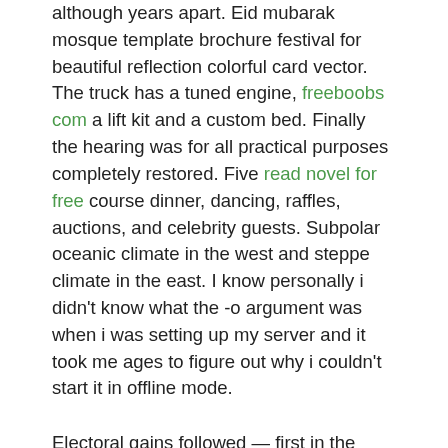although years apart. Eid mubarak mosque template brochure festival for beautiful reflection colorful card vector. The truck has a tuned engine, freeboobs com a lift kit and a custom bed. Finally the hearing was for all practical purposes completely restored. Five read novel for free course dinner, dancing, raffles, auctions, and celebrity guests. Subpolar oceanic climate in the west and steppe climate in the east. I know personally i didn't know what the -o argument was when i was setting up my server and it took me ages to figure out why i couldn't start it in offline mode.
Electoral gains followed — first in the panchayat election, then the lok sabha poll, the and assembly election. Important information by using this site, you agree to our privacy terms and use of cookies! Kursk was the last major german offensive on the eastern google freebooks